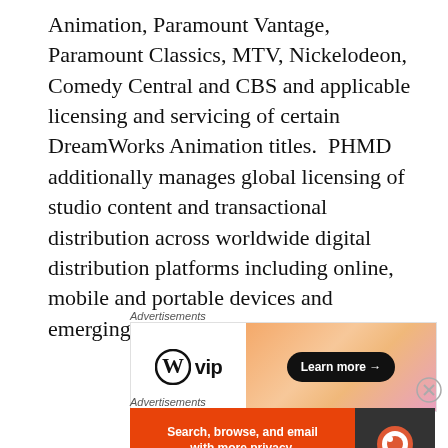Animation, Paramount Vantage, Paramount Classics, MTV, Nickelodeon, Comedy Central and CBS and applicable licensing and servicing of certain DreamWorks Animation titles.  PHMD additionally manages global licensing of studio content and transactional distribution across worldwide digital distribution platforms including online, mobile and portable devices and emerging technologies.
[Figure (other): WordPress VIP advertisement banner with gradient orange/pink background and Learn more button]
[Figure (other): DuckDuckGo advertisement banner: orange left panel with 'Search, browse, and email with more privacy. All in One Free App' and dark right panel with DuckDuckGo logo]